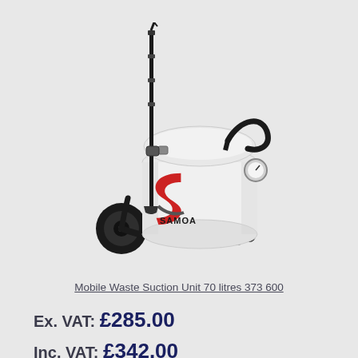[Figure (photo): SAMOA branded Mobile Waste Suction Unit 70 litres (product code 373 600). White cylindrical tank on a wheeled cart with black frame, large rear wheels, small front casters, a tall telescopic suction wand on the left side, a pressure gauge and handle on the right side, and a red SAMOA logo on the front.]
Mobile Waste Suction Unit 70 litres 373 600
Ex. VAT: £285.00
Inc. VAT: £342.00